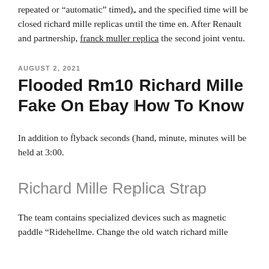repeated or “automatic” timed), and the specified time will be closed richard mille replicas until the time en. After Renault and partnership, franck muller replica the second joint ventu.
AUGUST 2, 2021
Flooded Rm10 Richard Mille Fake On Ebay How To Know
In addition to flyback seconds (hand, minute, minutes will be held at 3:00.
Richard Mille Replica Strap
The team contains specialized devices such as magnetic paddle “Ridehellme. Change the old watch richard mille